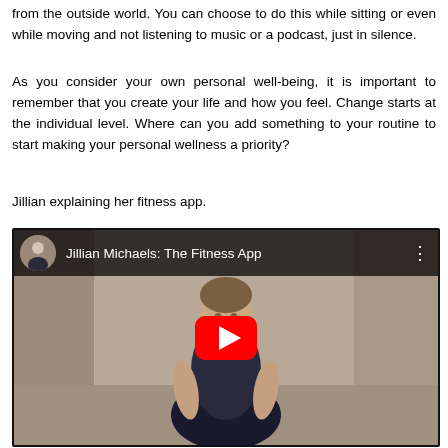from the outside world. You can choose to do this while sitting or even while moving and not listening to music or a podcast, just in silence.
As you consider your own personal well-being, it is important to remember that you create your life and how you feel. Change starts at the individual level. Where can you add something to your routine to start making your personal wellness a priority?
Jillian explaining her fitness app.
[Figure (screenshot): YouTube video embed showing Jillian Michaels: The Fitness App. A woman in workout clothes stands in a gym/warehouse setting. A red YouTube play button is centered over the thumbnail. The video title bar shows the channel avatar and title 'Jillian Michaels: The Fitness App'.]